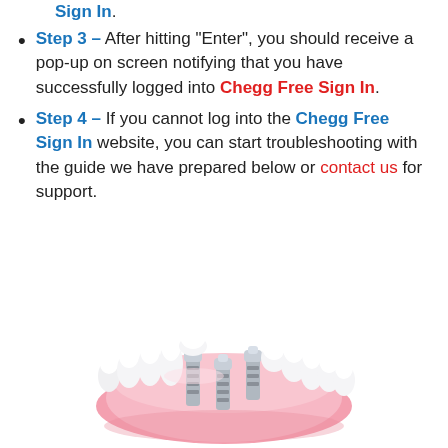Sign In.
Step 3 – After hitting "Enter", you should receive a pop-up on screen notifying that you have successfully logged into Chegg Free Sign In.
Step 4 – If you cannot log into the Chegg Free Sign In website, you can start troubleshooting with the guide we have prepared below or contact us for support.
[Figure (illustration): 3D dental illustration showing a lower jaw model with dental implants (metal screws/abutments) placed in the gum, with white teeth partially present around the implant area, on a white background.]